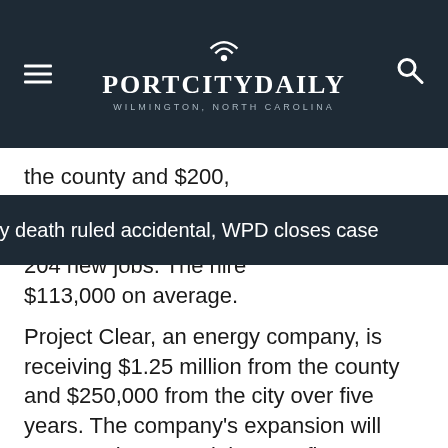PORT CITY DAILY — WILMINGTON, NORTH CAROLINA
the county and $200, years. The business is $25 million in capital e 204 new jobs. The hire $113,000 on average.
Val D'Auvray death ruled accidental, WPD closes case
Project Clear, an energy company, is receiving $1.25 million from the county and $250,000 from the city over five years. The company's expansion will create at least 485 jobs over five years, paying average earnings of $131,000. It is putting a minimum of $85.2 million toward real